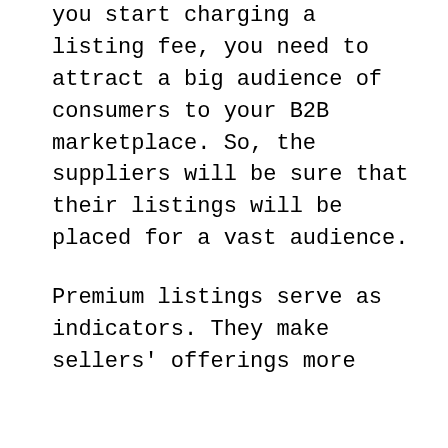you start charging a listing fee, you need to attract a big audience of consumers to your B2B marketplace. So, the suppliers will be sure that their listings will be placed for a vast audience.
Premium listings serve as indicators. They make sellers' offerings more